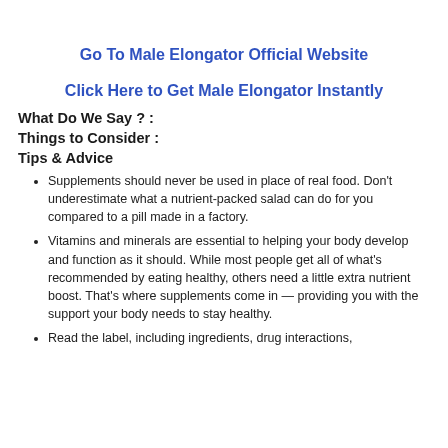Go To Male Elongator Official Website
Click Here to Get Male Elongator Instantly
What Do We Say ? :
Things to Consider :
Tips & Advice
Supplements should never be used in place of real food. Don't underestimate what a nutrient-packed salad can do for you compared to a pill made in a factory.
Vitamins and minerals are essential to helping your body develop and function as it should. While most people get all of what's recommended by eating healthy, others need a little extra nutrient boost. That's where supplements come in — providing you with the support your body needs to stay healthy.
Read the label, including ingredients, drug interactions,